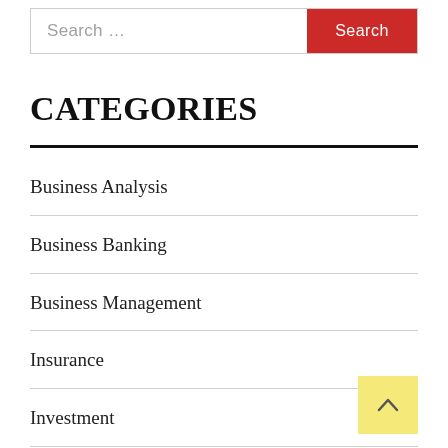Search ...  Search
CATEGORIES
Business Analysis
Business Banking
Business Management
Insurance
Investment
News Business